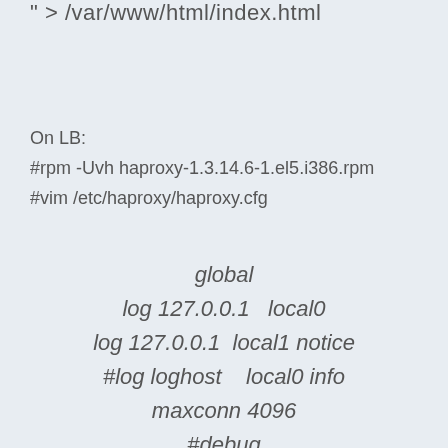" > /var/www/html/index.html
On LB:
#rpm -Uvh haproxy-1.3.14.6-1.el5.i386.rpm
#vim /etc/haproxy/haproxy.cfg
global
log 127.0.0.1   local0
log 127.0.0.1   local1 notice
#log loghost    local0 info
maxconn 4096
#debug
#quiet
user haproxy